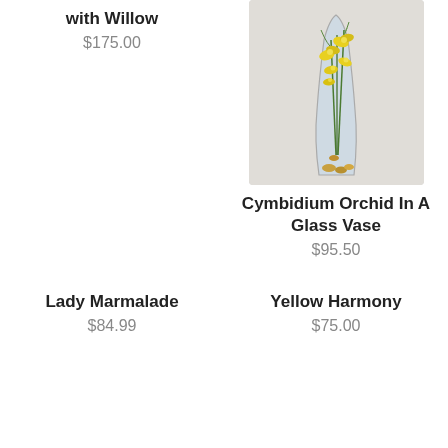with Willow
$175.00
[Figure (photo): Cymbidium orchid arrangement in a tall glass vase with yellow flowers]
Cymbidium Orchid In A Glass Vase
$95.50
Lady Marmalade
$84.99
Yellow Harmony
$75.00